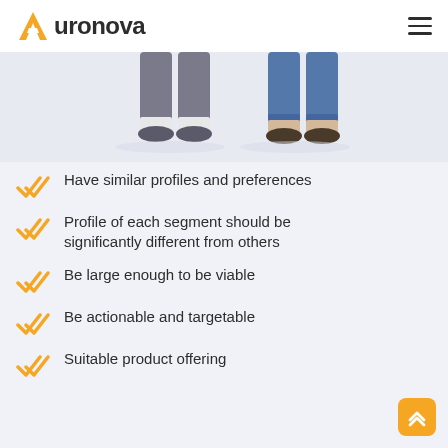[Figure (logo): Auronova logo with orange A icon and dark text, plus hamburger menu icon]
[Figure (illustration): Cropped illustration showing legs of two people standing — one in grey trousers, one in blue jeans]
Have similar profiles and preferences
Profile of each segment should be significantly different from others
Be large enough to be viable
Be actionable and targetable
Suitable product offering